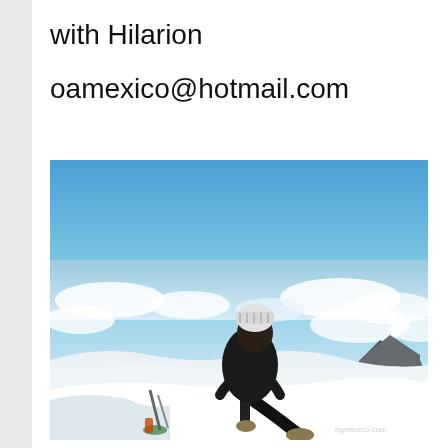with Hilarion
oamexico@hotmail.com
[Figure (photo): A person in black winter gear and white knit hat sitting on a summit marker at a high-altitude snowy mountain peak, overlooking a vast cloudscape below with blue sky above. The mountaineer appears to be at the top of a volcano. Watermark reads 'hgmexico.com'.]